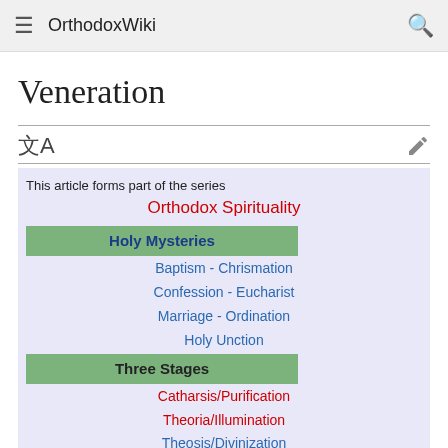OrthodoxWiki
Veneration
This article forms part of the series
Orthodox Spirituality
Holy Mysteries
Baptism - Chrismation
Confession - Eucharist
Marriage - Ordination
Holy Unction
Three Stages
Catharsis/Purification
Theoria/Illumination
Theosis/Divinization